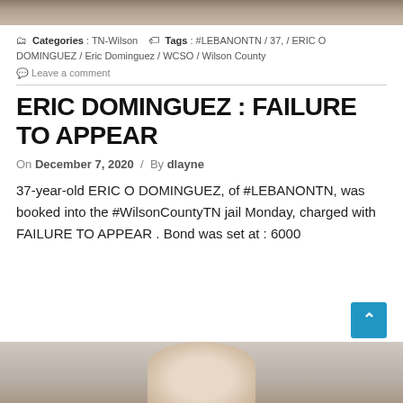[Figure (photo): Top decorative banner image, landscape/outdoor scene]
Categories : TN-Wilson   Tags : #LEBANONTN / 37, / ERIC O DOMINGUEZ / Eric Dominguez / WCSO / Wilson County
Leave a comment
ERIC DOMINGUEZ : FAILURE TO APPEAR
On December 7, 2020 / By dlayne
37-year-old ERIC O DOMINGUEZ, of #LEBANONTN, was booked into the #WilsonCountyTN jail Monday, charged with FAILURE TO APPEAR . Bond was set at : 6000
[Figure (photo): Mugshot photo of Eric O Dominguez, partially visible at bottom of page]